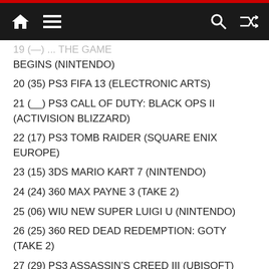Navigation bar with home, menu, search, and shuffle icons
19 (—) BATMAN ARKHAM ORIGINS: THE GAME BEGINS (NINTENDO)
20 (35) PS3 FIFA 13 (ELECTRONIC ARTS)
21 (—) PS3 CALL OF DUTY: BLACK OPS II (ACTIVISION BLIZZARD)
22 (17) PS3 TOMB RAIDER (SQUARE ENIX EUROPE)
23 (15) 3DS MARIO KART 7 (NINTENDO)
24 (24) 360 MAX PAYNE 3 (TAKE 2)
25 (06) WIU NEW SUPER LUIGI U (NINTENDO)
26 (25) 360 RED DEAD REDEMPTION: GOTY (TAKE 2)
27 (29) PS3 ASSASSIN'S CREED III (UBISOFT)
28 (30) 360 LEGO BATMAN 2: DC SUPER HEROES (WARNER BROS. INTERACTIVE)
29 (—) PC FOOTBALL MANAGER 2013 (SEGA)
30 (—) NDS THE SMURFS 2 (UBISOFT)
31 (—) 360 NEED FOR SPEED MOST WANTED (ELECTRONIC ARTS)